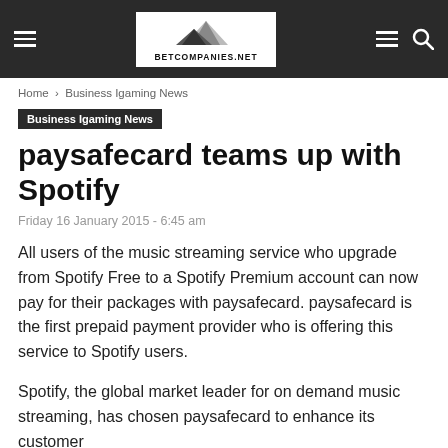BETCOMPANIES.NET
Home › Business Igaming News
Business Igaming News
paysafecard teams up with Spotify
Friday 16 January 2015 - 6:45 am
All users of the music streaming service who upgrade from Spotify Free to a Spotify Premium account can now pay for their packages with paysafecard. paysafecard is the first prepaid payment provider who is offering this service to Spotify users.
Spotify, the global market leader for on demand music streaming, has chosen paysafecard to enhance its customer